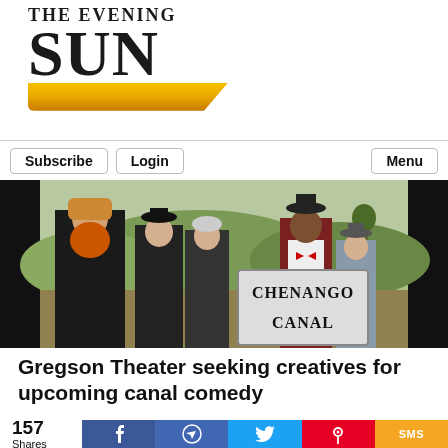The Evening Sun
Subscribe   Login   Menu
[Figure (photo): Five costumed actors posing in front of a painted backdrop, one holding a sign reading 'CHENANGO CANAL']
Gregson Theater seeking creatives for upcoming canal comedy
157 Shares